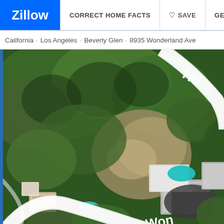Zillow | CORRECT HOME FACTS | SAVE | GET UPDATES
California · Los Angeles · Beverly Glen · 8935 Wonderland Ave
[Figure (photo): Aerial satellite view of 8935 Wonderland Ave, Beverly Glen, Los Angeles. Shows dense green tree cover on hillside, residential properties with rooftops, swimming pools, driveways. Street labels 'Ho' (partial, top right) and 'Won' (partial, bottom right) visible on white road overlays curving through the image. A crosshair/asterisk marker visible on the target property rooftop.]